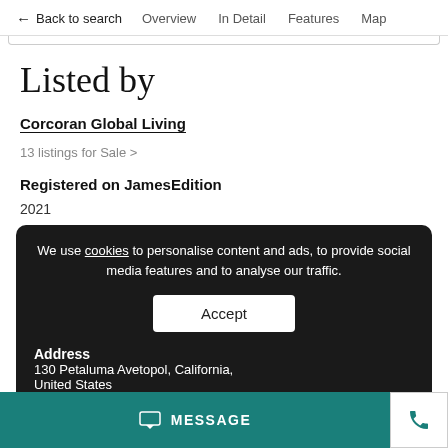← Back to search  Overview  In Detail  Features  Map
Listed by
Corcoran Global Living
13 listings for Sale >
Registered on JamesEdition
2021
We use cookies to personalise content and ads, to provide social media features and to analyse our traffic.
Accept
Address
130 Petaluma Ave  topol, California, United States
MESSAGE